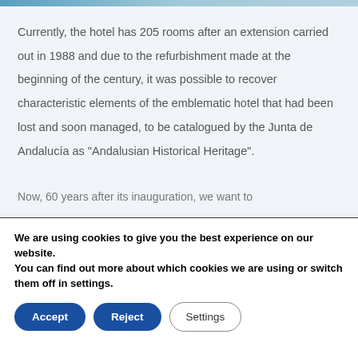[Figure (photo): Partial image strip at top of page showing a hotel or building exterior]
Currently, the hotel has 205 rooms after an extension carried out in 1988 and due to the refurbishment made at the beginning of the century, it was possible to recover characteristic elements of the emblematic hotel that had been lost and soon managed, to be catalogued by the Junta de Andalucía as "Andalusian Historical Heritage".
Now, 60 years after its inauguration, we want to
We are using cookies to give you the best experience on our website.
You can find out more about which cookies we are using or switch them off in settings.